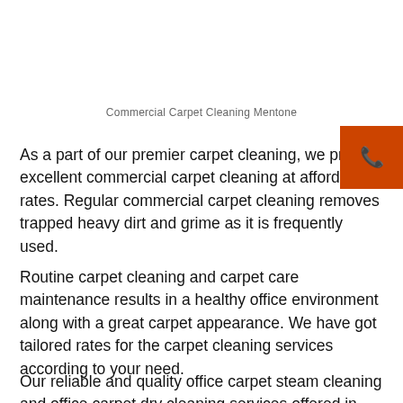Commercial Carpet Cleaning Mentone
As a part of our premier carpet cleaning, we provide excellent commercial carpet cleaning at affordable rates. Regular commercial carpet cleaning removes trapped heavy dirt and grime as it is frequently used.
Routine carpet cleaning and carpet care maintenance results in a healthy office environment along with a great carpet appearance. We have got tailored rates for the carpet cleaning services according to your need.
Our reliable and quality office carpet steam cleaning and office carpet dry cleaning services offered in the